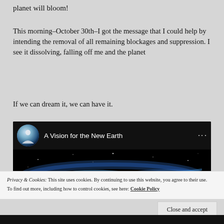planet will bloom!
This morning–October 30th–I got the message that I could help by intending the removal of all remaining blockages and suppression. I see it dissolving, falling off me and the planet
If we can dream it, we can have it.
[Figure (screenshot): YouTube-style video embed with channel icon and title 'A Vision for the New Earth', black background with galaxy/space imagery]
Privacy & Cookies: This site uses cookies. By continuing to use this website, you agree to their use.
To find out more, including how to control cookies, see here: Cookie Policy
Close and accept